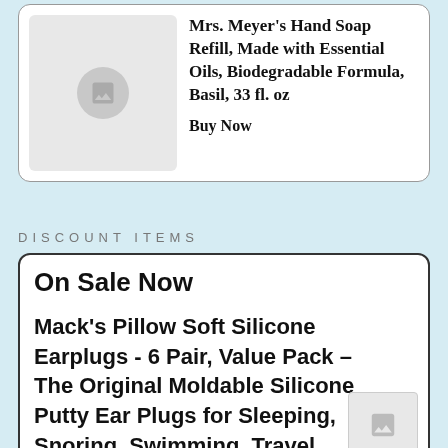[Figure (photo): Product card with placeholder image for Mrs. Meyer's Hand Soap Refill]
Mrs. Meyer's Hand Soap Refill, Made with Essential Oils, Biodegradable Formula, Basil, 33 fl. oz
Buy Now
DISCOUNT ITEMS
On Sale Now
Mack's Pillow Soft Silicone Earplugs - 6 Pair, Value Pack – The Original Moldable Silicone Putty Ear Plugs for Sleeping, Snoring, Swimming, Travel,...